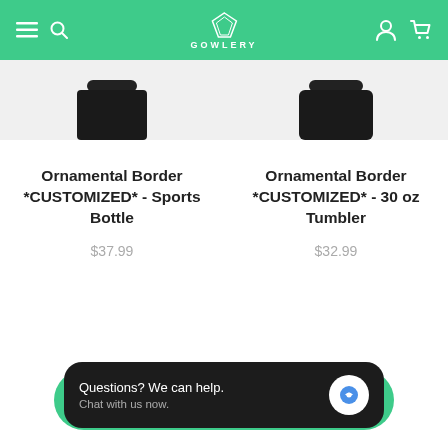GOWLERY
[Figure (screenshot): Top portion of two product bottle images cropped at top of product cards]
Ornamental Border *CUSTOMIZED* - Sports Bottle
$37.99
Ornamental Border *CUSTOMIZED* - 30 oz Tumbler
$32.99
Questions? We can help. Chat with us now.